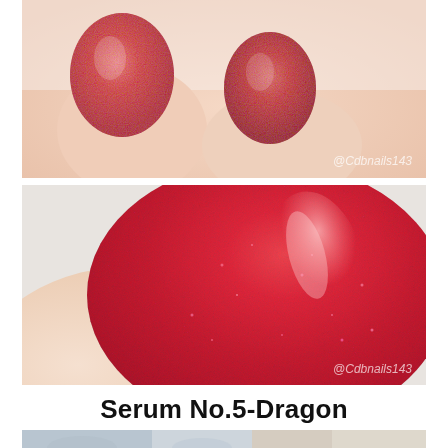[Figure (photo): Close-up photo of fingers with red holographic glitter nail polish applied, showing two fingertips with the red shimmer nail color. Watermark reads @Cdbnails143 in bottom right.]
[Figure (photo): Macro close-up of a single fingernail painted with red holographic glitter nail polish (Serum No.5-Dragon), showing the sparkling red shimmer detail. Watermark reads @Cdbnails143 in bottom right.]
Serum No.5-Dragon
[Figure (photo): Partial view of fingernails with a blue/silver glitter nail polish, partially cropped at bottom of page.]